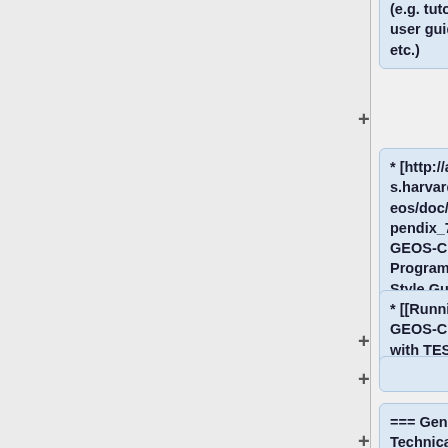(e.g. tutorials, user guides, etc.)
* [http://acmg.seas.harvard.edu/geos/doc/man/appendix_7.html GEOS-Chem Programming Style Guide]
* [[Running GEOS-Chem with TESTRUN]]
=== General Technical Information ===
* [[Initial conditions for